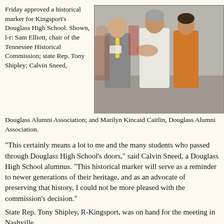[Figure (photo): Group photo of people shaking hands at an event; includes a man in a grey suit, a person in a white sweater, and a woman in an orange jacket]
Friday approved a historical marker for Kingsport's Douglass High School. Shown, l-r: Sam Elliott, chair of the Tennessee Historical Commission; state Rep. Tony Shipley; Calvin Sneed, Douglass Alumni Association; and Marilyn Kincaid Caitlin, Douglass Alumni Association.
“This certainly means a lot to me and the many students who passed through Douglass High School’s doors,” said Calvin Sneed, a Douglass High School alumnus. “This historical marker will serve as a reminder to newer generations of their heritage, and as an advocate of preserving that history, I could not be more pleased with the commission’s decision.”
State Rep. Tony Shipley, R-Kingsport, was on hand for the meeting in Nashville.
The historical commission’s vote was unanimous.